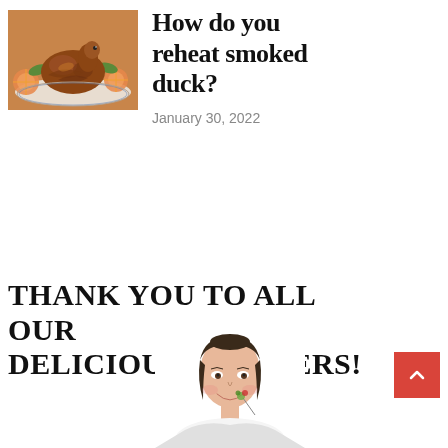[Figure (photo): Photo of a smoked duck on a platter garnished with orange slices and green herbs]
How do you reheat smoked duck?
January 30, 2022
THANK YOU TO ALL OUR DELICIOUS PARTNERS!
[Figure (photo): Woman smiling and eating a salad, shown from shoulders up against a white background]